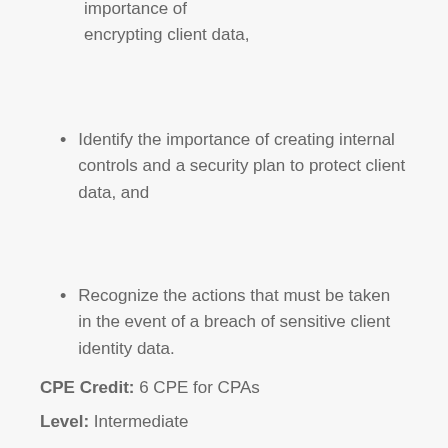importance of encrypting client data,
Identify the importance of creating internal controls and a security plan to protect client data, and
Recognize the actions that must be taken in the event of a breach of sensitive client identity data.
CPE Credit: 6 CPE for CPAs
Level: Intermediate